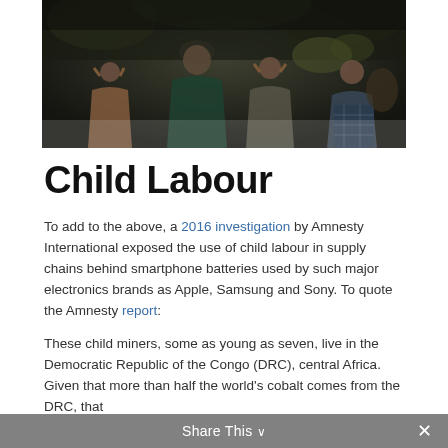[Figure (photo): Photograph of children and an adult in a dark outdoor setting, appearing to be in Southeast Asia or Central Africa, carrying heavy loads on their heads.]
Child Labour
To add to the above, a 2016 investigation by Amnesty International exposed the use of child labour in supply chains behind smartphone batteries used by such major electronics brands as Apple, Samsung and Sony. To quote the Amnesty report:
These child miners, some as young as seven, live in the Democratic Republic of the Congo (DRC), central Africa. Given that more than half the world's cobalt comes from the DRC, that
Share This